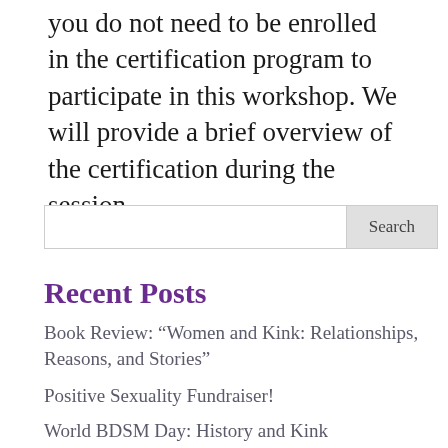you do not need to be enrolled in the certification program to participate in this workshop. We will provide a brief overview of the certification during the session.
Search
Recent Posts
Book Review: “Women and Kink: Relationships, Reasons, and Stories”
Positive Sexuality Fundraiser!
World BDSM Day: History and Kink